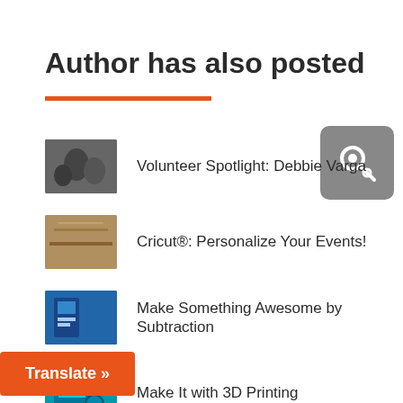Author has also posted
Volunteer Spotlight: Debbie Varga
Cricut®: Personalize Your Events!
Make Something Awesome by Subtraction
Make It with 3D Printing
...ted with Mindfulness
[Figure (logo): Gray rounded square icon with a lightbulb/key shape in white]
Translate »